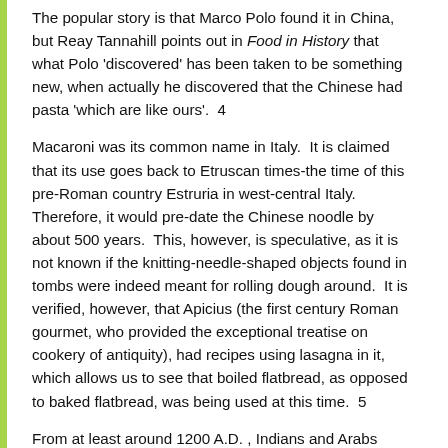The popular story is that Marco Polo found it in China, but Reay Tannahill points out in Food in History that what Polo 'discovered' has been taken to be something new, when actually he discovered that the Chinese had pasta 'which are like ours'.  4
Macaroni was its common name in Italy.  It is claimed that its use goes back to Etruscan times-the time of this pre-Roman country Estruria in west-central Italy.  Therefore, it would pre-date the Chinese noodle by about 500 years.  This, however, is speculative, as it is not known if the knitting-needle-shaped objects found in tombs were indeed meant for rolling dough around.  It is verified, however, that Apicius (the first century Roman gourmet, who provided the exceptional treatise on cookery of antiquity), had recipes using lasagna in it, which allows us to see that boiled flatbread, as opposed to baked flatbread, was being used at this time.  5
From at least around 1200 A.D. , Indians and Arabs were consuming pasta.  Both had names for it meaning 'thread': Indians called it sevika, while Arabs used Persian rishta.  Italians made a larger noodle and named it spaghetti, derived from spago, or string.  It is attested that Italians had stuffed shapes such as ravioli and tortellini by the middle of this century, with parallels elsewhere.  Russia had pel'meni, China-won